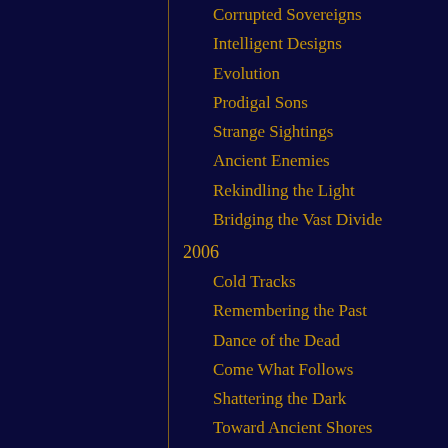Corrupted Sovereigns
Intelligent Designs
Evolution
Prodigal Sons
Strange Sightings
Ancient Enemies
Rekindling the Light
Bridging the Vast Divide
2006
Cold Tracks
Remembering the Past
Dance of the Dead
Come What Follows
Shattering the Dark
Toward Ancient Shores
From the Darkest Depths
The Price of Loyalty
Shining Runes and Shadowed Hands